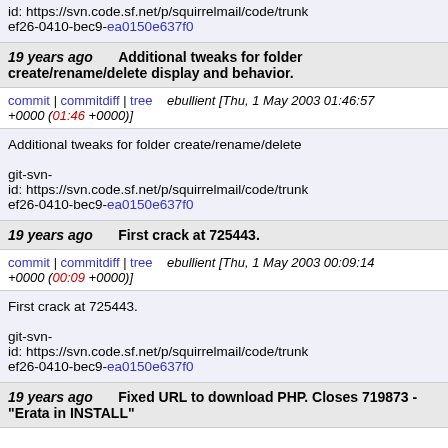id: https://svn.code.sf.net/p/squirrelmail/code/trunk ef26-0410-bec9-ea0150e637f0
19 years ago   Additional tweaks for folder create/rename/delete display and behavior.
commit | commitdiff | tree   ebullient [Thu, 1 May 2003 01:46:57 +0000 (01:46 +0000)]
Additional tweaks for folder create/rename/delete git-svn-id: https://svn.code.sf.net/p/squirrelmail/code/trunk ef26-0410-bec9-ea0150e637f0
19 years ago   First crack at 725443.
commit | commitdiff | tree   ebullient [Thu, 1 May 2003 00:09:14 +0000 (00:09 +0000)]
First crack at 725443. git-svn-id: https://svn.code.sf.net/p/squirrelmail/code/trunk ef26-0410-bec9-ea0150e637f0
19 years ago   Fixed URL to download PHP. Closes 719873 - "Erata in INSTALL"